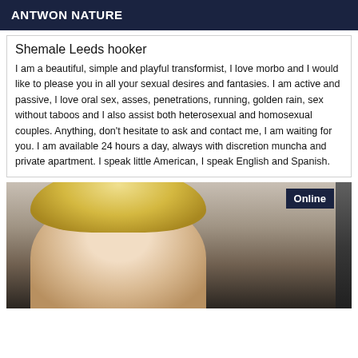ANTWON NATURE
Shemale Leeds hooker
I am a beautiful, simple and playful transformist, I love morbo and I would like to please you in all your sexual desires and fantasies. I am active and passive, I love oral sex, asses, penetrations, running, golden rain, sex without taboos and I also assist both heterosexual and homosexual couples. Anything, don't hesitate to ask and contact me, I am waiting for you. I am available 24 hours a day, always with discretion muncha and private apartment. I speak little American, I speak English and Spanish.
[Figure (photo): Photo of a blonde woman, partially visible, with a dark door frame on the right side. An 'Online' badge is shown in the top right corner.]